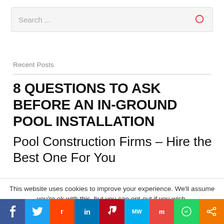Search ...
Recent Posts
8 QUESTIONS TO ASK BEFORE AN IN-GROUND POOL INSTALLATION
Pool Construction Firms – Hire the Best One For You
This website uses cookies to improve your experience. We'll assume you're ok with this, but you can opt-out if you wish.
f  Twitter  Reddit  in  Pinterest  MW  Mix  WhatsApp  Share